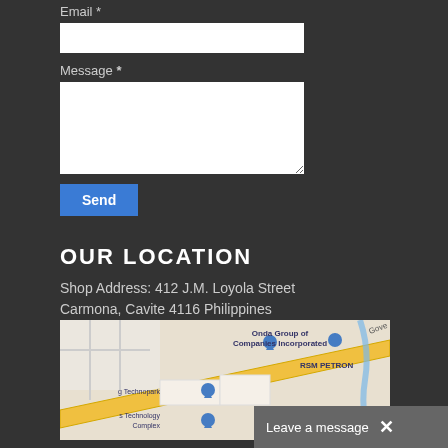Email *
Message *
Send
OUR LOCATION
Shop Address: 412 J.M. Loyola Street Carmona, Cavite 4116 Philippines
[Figure (map): Google Maps screenshot showing the area near 412 J.M. Loyola Street, Carmona, Cavite, Philippines. Visible labels include Onda Group of Companies Incorporated, RSM PETRON, Technopark, Technology Complex, and Governor's Drive (Gove...).]
Leave a message  ×